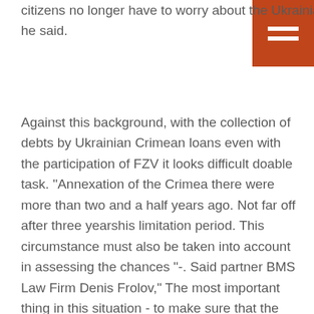citizens no longer have to worry about the Ukrainian - we are able to protect the Crimean people", - he said.
Against this background, with the collection of debts by Ukrainian Crimean loans even with the participation of FZV it looks difficult doable task. "Annexation of the Crimea there were more than two and a half years ago. Not far off after three yearshis limitation period. This circumstance must also be taken into account in assessing the chances "-. Said partner BMS Law Firm Denis Frolov," The most important thing in this situation - to make sure that the contracts were written right of the creditor to transfer debts to third parties, because that's what this is, room for legal maneuvering and possible disputes, - continues Andrey partner Lidings Zelenin.- it is